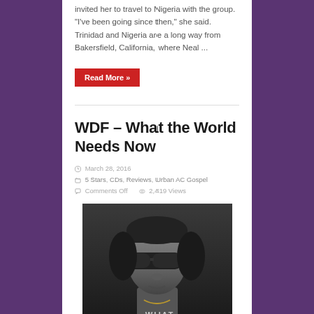invited her to travel to Nigeria with the group. “I’ve been going since then,” she said. Trinidad and Nigeria are a long way from Bakersfield, California, where Neal ...
Read More »
WDF – What the World Needs Now
March 28, 2016
5 Stars, CDs, Reviews, Urban AC Gospel
Comments Off   2,419 Views
[Figure (photo): Black and white photo of a person wearing large dark sunglasses and a gold chain, with text 'WHAT' visible at the bottom]